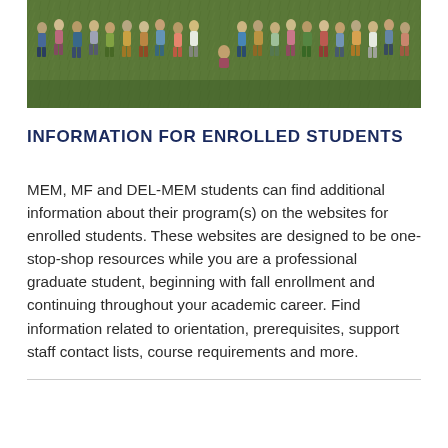[Figure (photo): Group photo of students standing on a green lawn, viewed from above, wearing casual summer clothing]
INFORMATION FOR ENROLLED STUDENTS
MEM, MF and DEL-MEM students can find additional information about their program(s) on the websites for enrolled students. These websites are designed to be one-stop-shop resources while you are a professional graduate student, beginning with fall enrollment and continuing throughout your academic career. Find information related to orientation, prerequisites, support staff contact lists, course requirements and more.